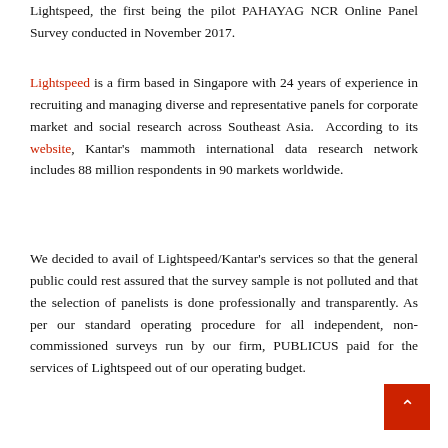Lightspeed, the first being the pilot PAHAYAG NCR Online Panel Survey conducted in November 2017.
Lightspeed is a firm based in Singapore with 24 years of experience in recruiting and managing diverse and representative panels for corporate market and social research across Southeast Asia. According to its website, Kantar's mammoth international data research network includes 88 million respondents in 90 markets worldwide.
We decided to avail of Lightspeed/Kantar's services so that the general public could rest assured that the survey sample is not polluted and that the selection of panelists is done professionally and transparently. As per our standard operating procedure for all independent, non-commissioned surveys run by our firm, PUBLICUS paid for the services of Lightspeed out of our operating budget.